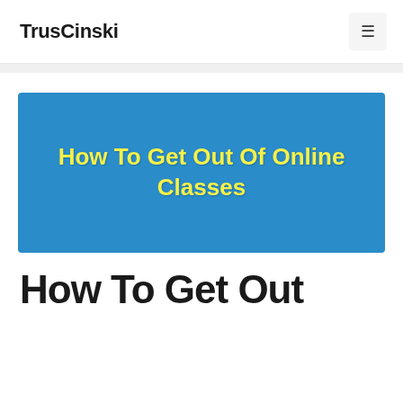TrusCinski
[Figure (illustration): Blue banner image with bold yellow text reading 'How To Get Out Of Online Classes']
How To Get Out